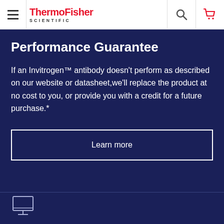ThermoFisher SCIENTIFIC
Performance Guarantee
If an Invitrogen™ antibody doesn't perform as described on our website or datasheet, we'll replace the product at no cost to you, or provide you with a credit for a future purchase.*
Learn more
[Figure (screenshot): Bottom section with divider line and partial icon visible at bottom left]